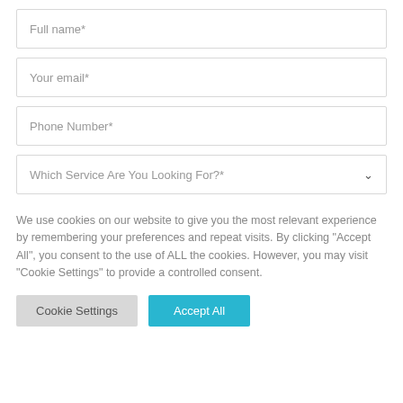Full name*
Your email*
Phone Number*
Which Service Are You Looking For?*
We use cookies on our website to give you the most relevant experience by remembering your preferences and repeat visits. By clicking "Accept All", you consent to the use of ALL the cookies. However, you may visit "Cookie Settings" to provide a controlled consent.
Cookie Settings
Accept All